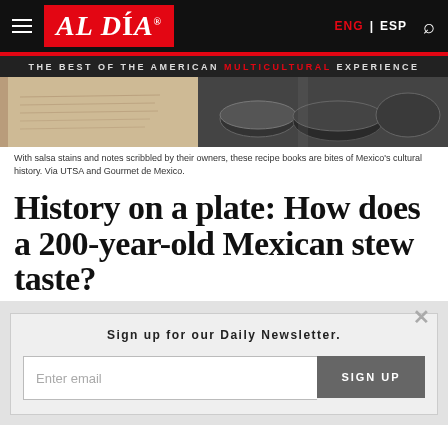AL DÍA | ENG | ESP
THE BEST OF THE AMERICAN MULTICULTURAL EXPERIENCE
[Figure (photo): Two side-by-side images: left shows an aged handwritten document/recipe book with faded text; right shows dark metallic bowls or cookware, possibly traditional Mexican kitchen items.]
With salsa stains and notes scribbled by their owners, these recipe books are bites of Mexico's cultural history. Via UTSA and Gourmet de Mexico.
History on a plate: How does a 200-year-old Mexican stew taste?
Sign up for our Daily Newsletter.
Enter email  SIGN UP